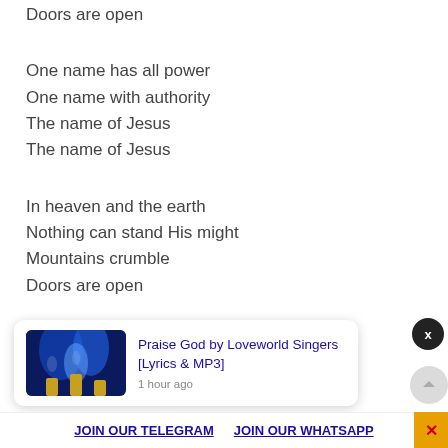Doors are open
One name has all power
One name with authority
The name of Jesus
The name of Jesus
In heaven and the earth
Nothing can stand His might
Mountains crumble
Doors are open
We call the name of Jesus
Jesus
[Figure (screenshot): Notification card: Praise God by Loveworld Singers [Lyrics & MP3], 1 hour ago, with a thumbnail of a concert with blue lights]
JOIN OUR TELEGRAM   JOIN OUR WHATSAPP